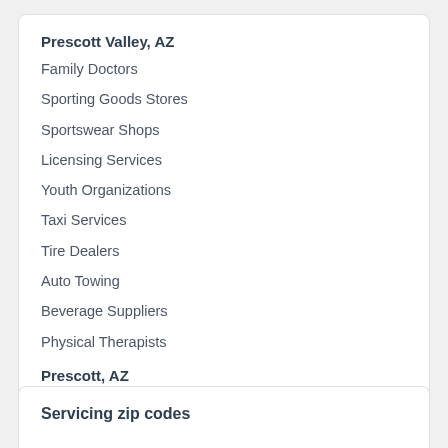Prescott Valley, AZ
Family Doctors
Sporting Goods Stores
Sportswear Shops
Licensing Services
Youth Organizations
Taxi Services
Tire Dealers
Auto Towing
Beverage Suppliers
Physical Therapists
Prescott, AZ
Support Groups
Servicing zip codes